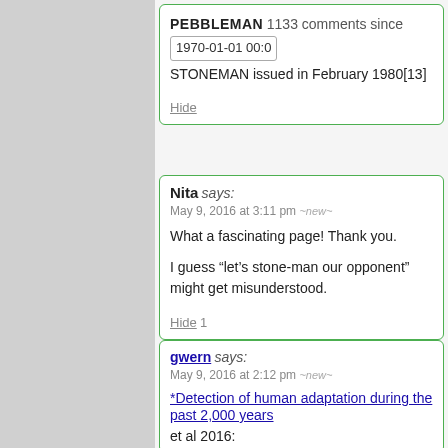PEBBLEMAN 1133 comments since 1970-01-01 00:0
STONEMAN issued in February 1980[13]
Hide
Nita says: May 9, 2016 at 3:11 pm ~new~
What a fascinating page! Thank you.
I guess “let’s stone-man our opponent” might get misunderstood.
Hide 1
gwern says: May 9, 2016 at 2:12 pm ~new~
*Detection of human adaptation during the past 2,000 years
et al 2016: